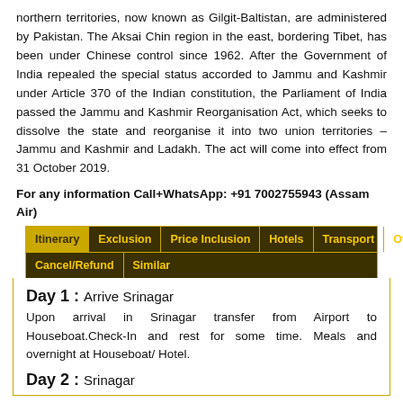northern territories, now known as Gilgit-Baltistan, are administered by Pakistan. The Aksai Chin region in the east, bordering Tibet, has been under Chinese control since 1962. After the Government of India repealed the special status accorded to Jammu and Kashmir under Article 370 of the Indian constitution, the Parliament of India passed the Jammu and Kashmir Reorganisation Act, which seeks to dissolve the state and reorganise it into two union territories – Jammu and Kashmir and Ladakh. The act will come into effect from 31 October 2019.
For any information Call+WhatsApp: +91 7002755943 (Assam Air)
| Itinerary | Exclusion | Price Inclusion | Hotels | Transport | Others | Cancel/Refund | Similar |
| --- | --- | --- | --- | --- | --- | --- | --- |
Day 1: Arrive Srinagar
Upon arrival in Srinagar transfer from Airport to Houseboat.Check-In and rest for some time. Meals and overnight at Houseboat/ Hotel.
Day 2: Srinagar